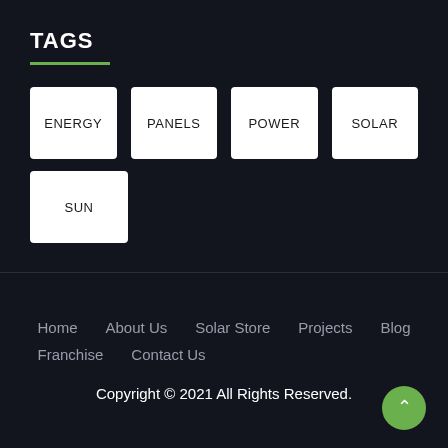TAGS
ENERGY
PANELS
POWER
SOLAR
SUN
Home   About Us   Solar Store   Projects   Blog   Franchise   Contact Us
Copyright © 2021 All Rights Reserved.